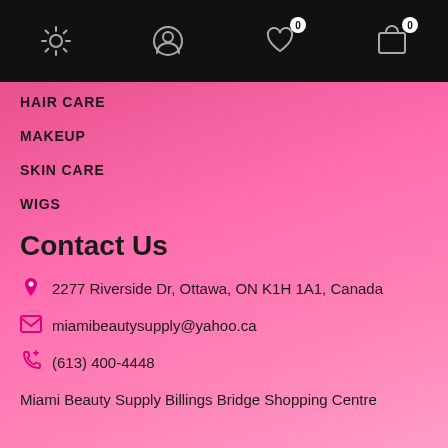Navigation icons: settings, account, wishlist (0), cart (0)
HAIR CARE
MAKEUP
SKIN CARE
WIGS
Contact Us
2277 Riverside Dr, Ottawa, ON K1H 1A1, Canada
miamibeautysupply@yahoo.ca
(613) 400-4448
Miami Beauty Supply Billings Bridge Shopping Centre